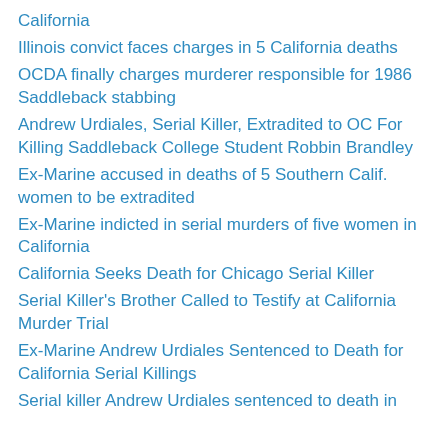California
Illinois convict faces charges in 5 California deaths
OCDA finally charges murderer responsible for 1986 Saddleback stabbing
Andrew Urdiales, Serial Killer, Extradited to OC For Killing Saddleback College Student Robbin Brandley
Ex-Marine accused in deaths of 5 Southern Calif. women to be extradited
Ex-Marine indicted in serial murders of five women in California
California Seeks Death for Chicago Serial Killer
Serial Killer's Brother Called to Testify at California Murder Trial
Ex-Marine Andrew Urdiales Sentenced to Death for California Serial Killings
Serial killer Andrew Urdiales sentenced to death in